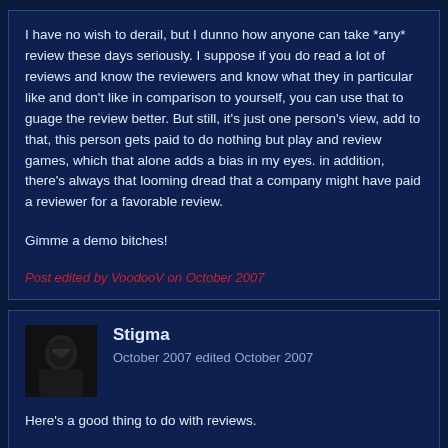I have no wish to derail, but I dunno how anyone can take *any* review these days seriously. I suppose if you do read a lot of reviews and know the reviewers and know what they in particular like and don't like in comparison to yourself, you can use that to guage the review better. But still, it's just one person's view, add to that, this person gets paid to do nothing but play and review games, which that alone adds a bias in my eyes. in addition, there's always that looming dread that a company might have paid a reviewer for a favorable review.

Gimme a demo bitches!
Post edited by VoodooV on October 2007
Stigma
October 2007 edited October 2007
Here's a good thing to do with reviews.

Read a couple of the highest ones and a couple of the lowest ones to get a good idea of what the good and bad points are.